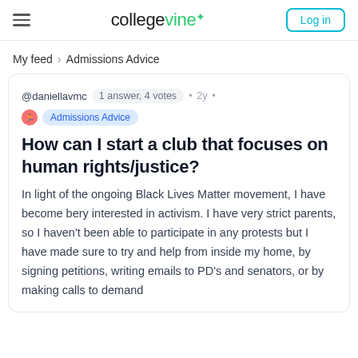collegevine — Log in
My feed > Admissions Advice
@daniellavmc  1 answer, 4 votes  •  2y  •  Admissions Advice
How can I start a club that focuses on human rights/justice?
In light of the ongoing Black Lives Matter movement, I have become bery interested in activism. I have very strict parents, so I haven't been able to participate in any protests but I have made sure to try and help from inside my home, by signing petitions, writing emails to PD's and senators, or by making calls to demand